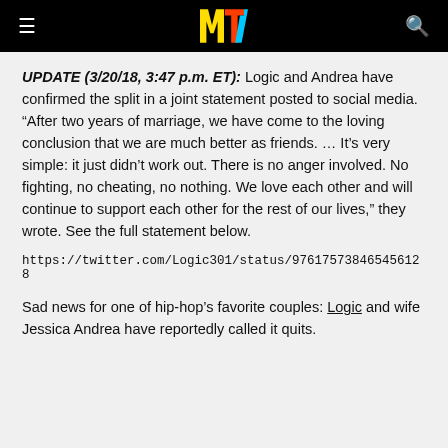MTV logo header
UPDATE (3/20/18, 3:47 p.m. ET): Logic and Andrea have confirmed the split in a joint statement posted to social media. “After two years of marriage, we have come to the loving conclusion that we are much better as friends. … It’s very simple: it just didn’t work out. There is no anger involved. No fighting, no cheating, no nothing. We love each other and will continue to support each other for the rest of our lives,” they wrote. See the full statement below.
https://twitter.com/Logic301/status/976175738465456128
Sad news for one of hip-hop’s favorite couples: Logic and wife Jessica Andrea have reportedly called it quits.